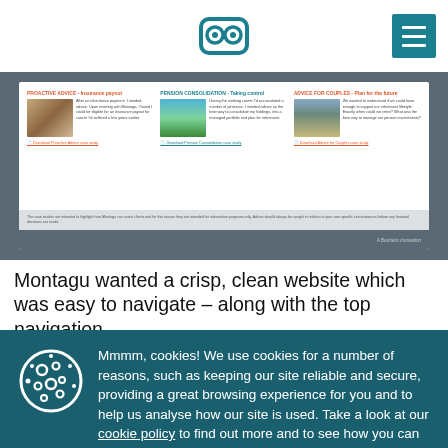Montagu / Business Innovation website header with owl logo and hamburger menu
[Figure (screenshot): Screenshot of the Montagu website showing three case study columns: PROACTIVE ADVICE - Insurance payout, PENSION CONSOLIDATION - Taking control, ADVICE FOR COUPLES - Plan for the future. Each column has an image and download link. Below is a disclaimer about case studies being for information purposes only, followed by a dark footer bar with 'A Business Innovation' text.]
Montagu wanted a crisp, clean website which was easy to navigate – along with the top navigation
Mmmm, cookies! We use cookies for a number of reasons, such as keeping our site reliable and secure, providing a great browsing experience for you and to help us analyse how our site is used. Take a look at our cookie policy to find out more and to see how you can manage cookies.
Accept and close